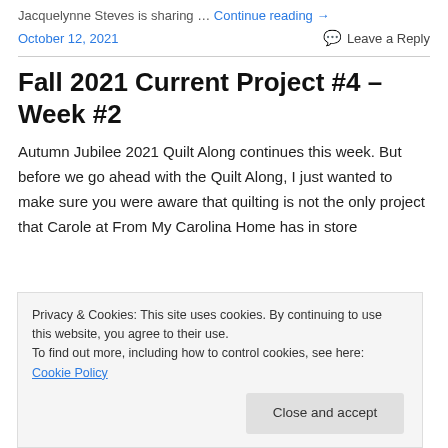Jacquelynne Steves is sharing … Continue reading →
October 12, 2021     Leave a Reply
Fall 2021 Current Project #4 – Week #2
Autumn Jubilee 2021 Quilt Along continues this week. But before we go ahead with the Quilt Along, I just wanted to make sure you were aware that quilting is not the only project that Carole at From My Carolina Home has in store
Privacy & Cookies: This site uses cookies. By continuing to use this website, you agree to their use.
To find out more, including how to control cookies, see here: Cookie Policy
Close and accept